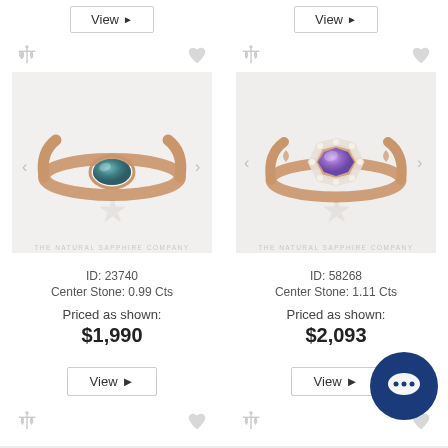[Figure (screenshot): E-commerce product listing page from The Natural Sapphire Company showing two sapphire rings with View buttons, product IDs, center stone weights, and prices.]
ID: 23740
Center Stone: 0.99 Cts
Priced as shown:
$1,990
ID: 58268
Center Stone: 1.11 Cts
Priced as shown:
$2,093